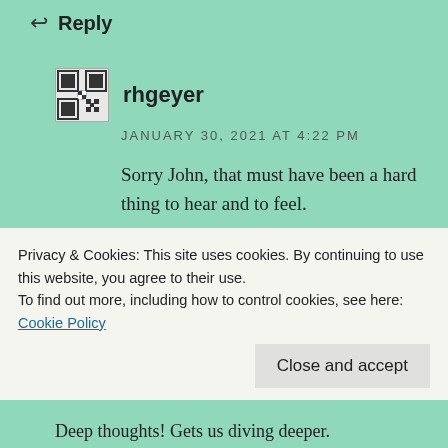↩ Reply
rhgeyer
JANUARY 30, 2021 AT 4:22 PM
Sorry John, that must have been a hard thing to hear and to feel.
★ Liked by 1 person
↩ Reply
Privacy & Cookies: This site uses cookies. By continuing to use this website, you agree to their use.
To find out more, including how to control cookies, see here: Cookie Policy
Close and accept
Deep thoughts! Gets us diving deeper.